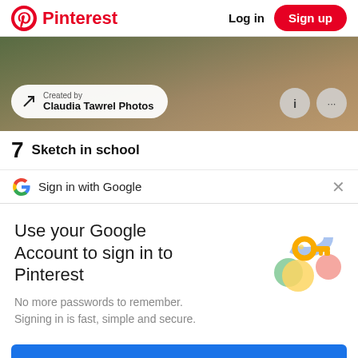Pinterest  Log in  Sign up
[Figure (screenshot): Pinterest photo with overlay showing 'Created by Claudia Tawrel Photos' and info/more icons]
7  Sketch in school
Sign in with Google
Use your Google Account to sign in to Pinterest
No more passwords to remember.
Signing in is fast, simple and secure.
Continue